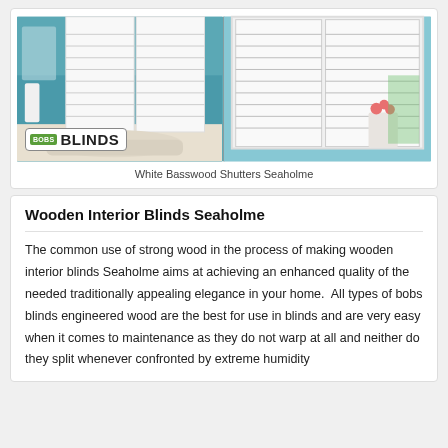[Figure (photo): Two photos side by side showing white basswood shutters installed in rooms with teal/blue walls and white window frames, with a BOBS BLINDS logo badge overlaid on the lower left]
White Basswood Shutters Seaholme
Wooden Interior Blinds Seaholme
The common use of strong wood in the process of making wooden interior blinds Seaholme aims at achieving an enhanced quality of the needed traditionally appealing elegance in your home.  All types of bobs blinds engineered wood are the best for use in blinds and are very easy when it comes to maintenance as they do not warp at all and neither do they split whenever confronted by extreme humidity